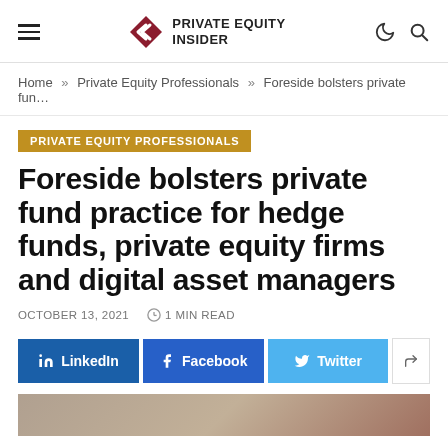≡  PRIVATE EQUITY INSIDER
Home » Private Equity Professionals » Foreside bolsters private fun…
PRIVATE EQUITY PROFESSIONALS
Foreside bolsters private fund practice for hedge funds, private equity firms and digital asset managers
OCTOBER 13, 2021   ⏱ 1 MIN READ
LinkedIn  Facebook  Twitter  Share